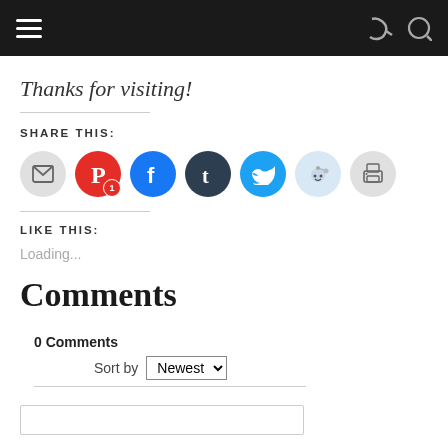Navigation bar with hamburger menu, share and search icons
Thanks for visiting!
SHARE THIS:
[Figure (infographic): Row of social share icon circles: email (grey), Pinterest (red, badge 1), Facebook (blue), Tumblr (dark), Twitter (cyan), Reddit (light blue), Print (grey)]
LIKE THIS:
Loading...
Comments
0 Comments
Sort by Newest